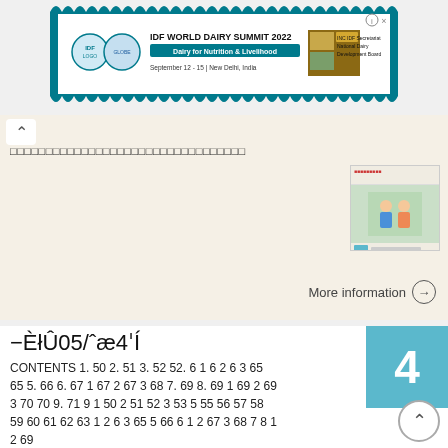[Figure (screenshot): IDF World Dairy Summit 2022 advertisement banner with teal/dark border, logos, and text 'Dairy for Nutrition & Livelihood, September 12-15, New Delhi, India']
□□□□□□□□□□□□□□□□□□□□□□□□□□□□□□□□□
[Figure (screenshot): Small thumbnail image showing a webpage with an illustration of two figures and green button]
More information →
−ÈłÛ05/,æ4ʹÍ
CONTENTS 1. 50 2. 51 3. 52 52. 6 1 6 2 6 3 65 65 5. 66 6. 67 1 67 2 67 3 68 7. 69 8. 69 1 69 2 69 3 70 70 9. 71 9 1 50 2 51 52 3 53 5 55 56 57 58 59 60 61 62 63 1 2 6 3 65 5 66 6 1 2 67 3 68 7 8 1 2 69